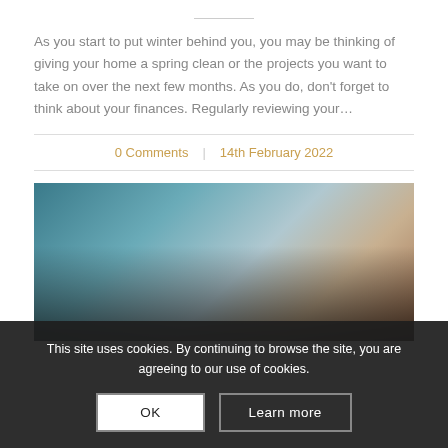As you start to put winter behind you, you may be thinking of giving your home a spring clean or the projects you want to take on over the next few months. As you do, don't forget to think about your finances. Regularly reviewing your…
0 Comments | 14th February 2022
[Figure (photo): Blurry close-up photo of what appears to be financial documents or a calendar, with teal/blue tones on the left and skin tones on the right, partially obscured by a dark cookie consent overlay]
This site uses cookies. By continuing to browse the site, you are agreeing to our use of cookies.